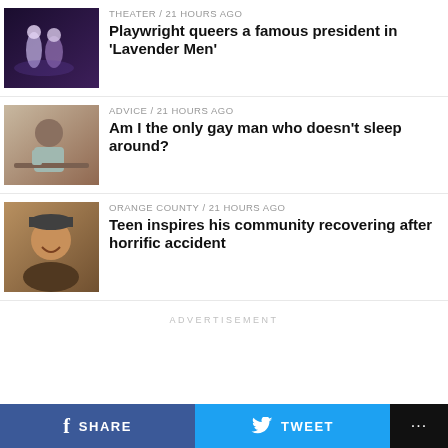[Figure (photo): Two people on a theater stage, dark purple/blue lighting]
THEATER / 21 hours ago
Playwright queers a famous president in 'Lavender Men'
[Figure (photo): Man resting head on hand, looking thoughtful, sitting at desk]
ADVICE / 21 hours ago
Am I the only gay man who doesn't sleep around?
[Figure (photo): Teen smiling, wearing a cap, holding something brown/cardboard]
ORANGE COUNTY / 21 hours ago
Teen inspires his community recovering after horrific accident
ADVERTISEMENT
SHARE   TWEET   ...